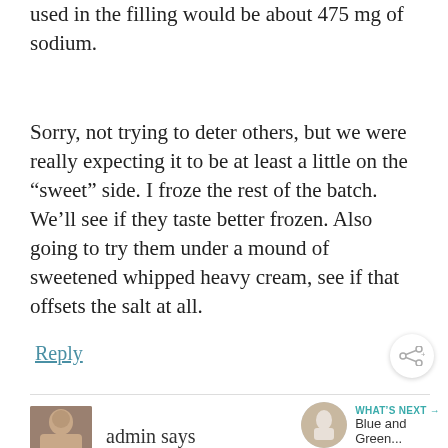used in the filling would be about 475 mg of sodium.
Sorry, not trying to deter others, but we were really expecting it to be at least a little on the “sweet” side. I froze the rest of the batch. We’ll see if they taste better frozen. Also going to try them under a mound of sweetened whipped heavy cream, see if that offsets the salt at all.
Reply
WHAT’S NEXT → Blue and Green...
admin says